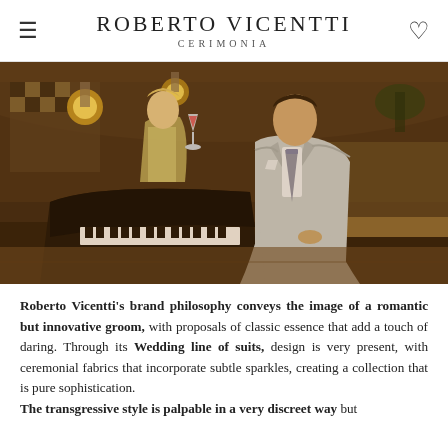Roberto Vicentti Cerimonia
[Figure (photo): A man in a light grey formal wedding suit sits in front of a grand piano in an elegant bar/lounge setting. A woman in a sparkly dress holds a cocktail glass in the background. The scene has warm, golden ambient lighting.]
Roberto Vicentti's brand philosophy conveys the image of a romantic but innovative groom, with proposals of classic essence that add a touch of daring. Through its Wedding line of suits, design is very present, with ceremonial fabrics that incorporate subtle sparkles, creating a collection that is pure sophistication.
The transgressive style is palpable in a very discreet way but